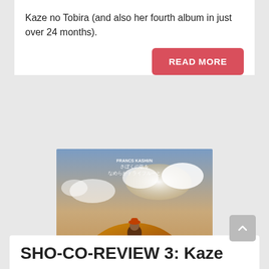Kaze no Tobira (and also her fourth album in just over 24 months).
READ MORE
[Figure (photo): Album cover showing a person sitting atop a large round bundle of wheat or hay in a desert landscape with cloudy sky. Text overlay in Japanese characters visible in upper portion.]
SHO-CO-REVIEW 3: Kaze